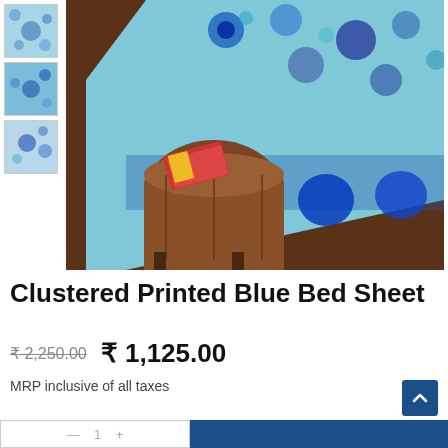[Figure (photo): Three thumbnail images of a blue floral printed bed sheet stacked vertically on the left side]
[Figure (photo): Main product image showing a blue and teal floral printed bed sheet draped over a bed with a brown tufted ottoman and wooden floor in background]
Clustered Printed Blue Bed Sheet
₹ 2,250.00  ₹ 1,125.00
MRP inclusive of all taxes